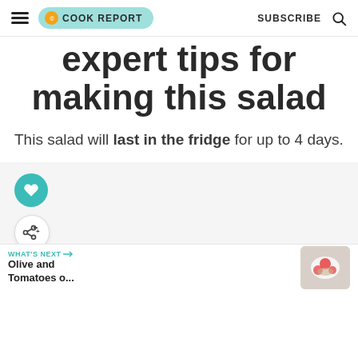THE COOK REPORT | SUBSCRIBE
expert tips for making this salad
This salad will last in the fridge for up to 4 days.
[Figure (other): Teal heart/favourite button and grey share button, floating on light grey background]
WHAT'S NEXT → Olive and Tomatoes o...